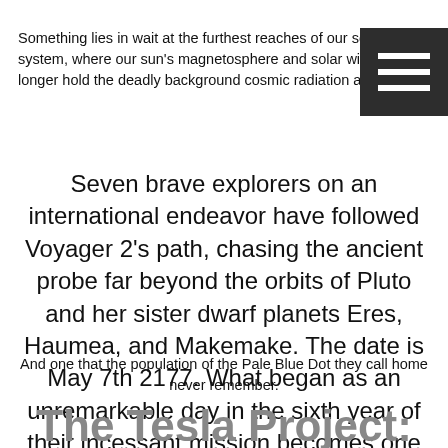Something lies in wait at the furthest reaches of our solar system, where our sun's magnetosphere and solar wind no longer hold the deadly background cosmic radiation at bay.
Seven brave explorers on an international endeavor have followed Voyager 2's path, chasing the ancient probe far beyond the orbits of Pluto and her sister dwarf planets Eres, Haumea, and Makemake. The date is May 7th 2177. What began as an unremarkable day in the sixth year of their incessant mission becomes one the crew of Explorer Two may not live to forget.
And one that the population of the Pale Blue Dot they call home never remember.
The Tesla Project: